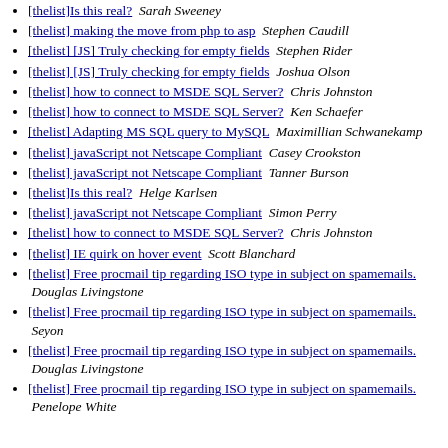[thelist]Is this real?  Sarah Sweeney
[thelist] making the move from php to asp  Stephen Caudill
[thelist] [JS] Truly checking for empty fields  Stephen Rider
[thelist] [JS] Truly checking for empty fields  Joshua Olson
[thelist] how to connect to MSDE SQL Server?  Chris Johnston
[thelist] how to connect to MSDE SQL Server?  Ken Schaefer
[thelist] Adapting MS SQL query to MySQL  Maximillian Schwanekamp
[thelist] javaScript not Netscape Compliant  Casey Crookston
[thelist] javaScript not Netscape Compliant  Tanner Burson
[thelist]Is this real?  Helge Karlsen
[thelist] javaScript not Netscape Compliant  Simon Perry
[thelist] how to connect to MSDE SQL Server?  Chris Johnston
[thelist] IE quirk on hover event  Scott Blanchard
[thelist] Free procmail tip regarding ISO type in subject on spamemails.  Douglas Livingstone
[thelist] Free procmail tip regarding ISO type in subject on spamemails.  Seyon
[thelist] Free procmail tip regarding ISO type in subject on spamemails.  Douglas Livingstone
[thelist] Free procmail tip regarding ISO type in subject on spamemails.  Penelope White